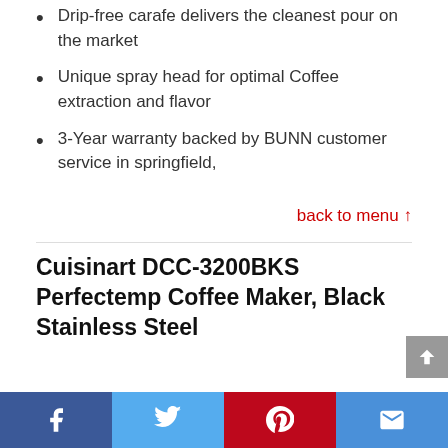Drip-free carafe delivers the cleanest pour on the market
Unique spray head for optimal Coffee extraction and flavor
3-Year warranty backed by BUNN customer service in springfield,
back to menu ↑
Cuisinart DCC-3200BKS Perfectemp Coffee Maker, Black Stainless Steel